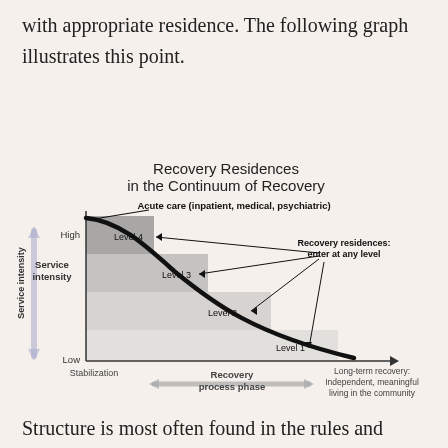with appropriate residence. The following graph illustrates this point.
[Figure (infographic): A diagram titled 'Recovery Residences in the Continuum of Recovery' showing a stepped staircase of four levels (Level 1 through Level 4) decreasing from high to low service intensity across a recovery process phase from Stabilization to Long-term recovery. A thick curved arrow descends from upper-left to lower-right, indicating decreasing service intensity over time. Labels show 'Acute care (inpatient, medical, psychiatric)' at the top, 'Recovery residences: enter at any level' on the right with arrows pointing to each level. The x-axis runs from Stabilization through Recovery process phase to Long-term recovery: Independent, meaningful living in the community. The y-axis shows Service intensity from Low to High.]
Structure is most often found in the rules and